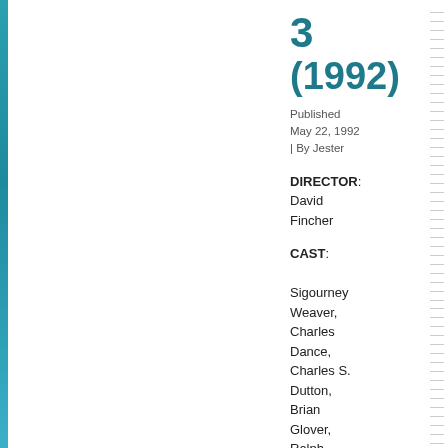3 (1992)
Published May 22, 1992 | By Jester
DIRECTOR: David Fincher
CAST: Sigourney Weaver, Charles Dance, Charles S. Dutton, Brian Glover, Ralph Brown, Pete Postlethwaite, Lance Henriksen
REVIEW: The phrase